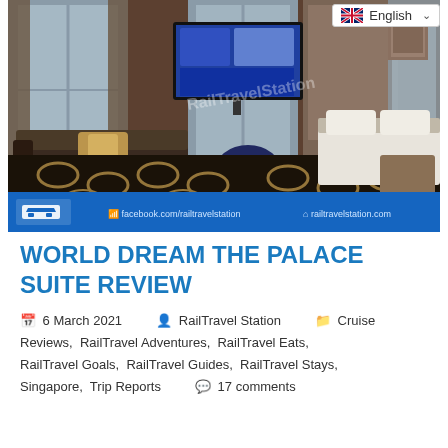[Figure (photo): Interior hotel room photo showing a lounge area with sofa, round table, TV on wall, bed visible to the right, patterned carpet, and RailTravel Station watermark. Blue banner at bottom with facebook.com/railtravelstation and railtravelstation.com]
WORLD DREAM THE PALACE SUITE REVIEW
6 March 2021   RailTravel Station   Cruise Reviews, RailTravel Adventures, RailTravel Eats, RailTravel Goals, RailTravel Guides, RailTravel Stays, Singapore, Trip Reports   17 comments